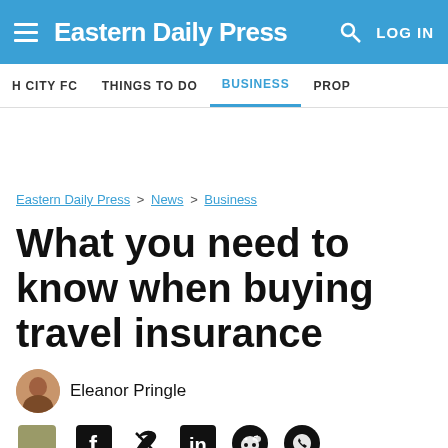Eastern Daily Press — LOG IN
H CITY FC | THINGS TO DO | BUSINESS | PROP
Eastern Daily Press > News > Business
What you need to know when buying travel insurance
Eleanor Pringle